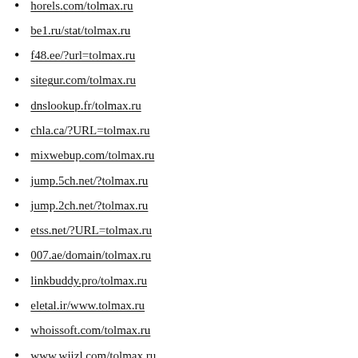horels.com/tolmax.ru
be1.ru/stat/tolmax.ru
f48.ee/?url=tolmax.ru
sitegur.com/tolmax.ru
dnslookup.fr/tolmax.ru
chla.ca/?URL=tolmax.ru
mixwebup.com/tolmax.ru
jump.5ch.net/?tolmax.ru
jump.2ch.net/?tolmax.ru
etss.net/?URL=tolmax.ru
007.ae/domain/tolmax.ru
linkbuddy.pro/tolmax.ru
eletal.ir/www.tolmax.ru
whoissoft.com/tolmax.ru
www.wiizl.com/tolmax.ru
www.whois7.ru/tolmax.ru
www.webviki.ru/tolmax.ru
pinktower.com/?tolmax.ru
icecap.us/?URL=tolmax.ru